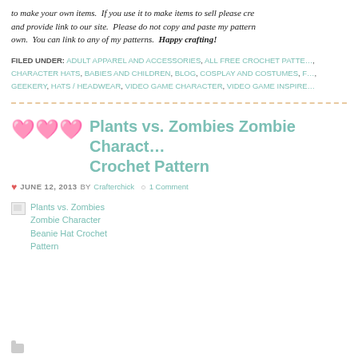to make your own items.  If you use it to make items to sell please cr... and provide link to our site.  Please do not copy and paste my pattern... own.  You can link to any of my patterns.  Happy crafting!
FILED UNDER: ADULT APPAREL AND ACCESSORIES, ALL FREE CROCHET PATTE..., CHARACTER HATS, BABIES AND CHILDREN, BLOG, COSPLAY AND COSTUMES, F..., GEEKERY, HATS / HEADWEAR, VIDEO GAME CHARACTER, VIDEO GAME INSPIRE...
Plants vs. Zombies Zombie Charact... Crochet Pattern
JUNE 12, 2013 BY CRAFTERCHICK  1 COMMENT
[Figure (photo): Broken image placeholder for Plants vs. Zombies Zombie Character Beanie Hat Crochet Pattern]
folder icon row at bottom